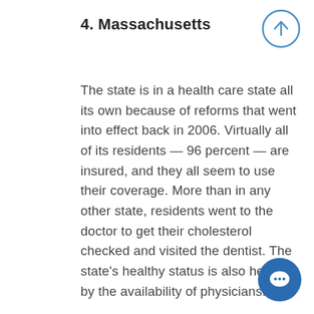4. Massachusetts
The state is in a health care state all its own because of reforms that went into effect back in 2006. Virtually all of its residents — 96 percent — are insured, and they all seem to use their coverage. More than in any other state, residents went to the doctor to get their cholesterol checked and visited the dentist. The state's healthy status is also helped by the availability of physicians. In